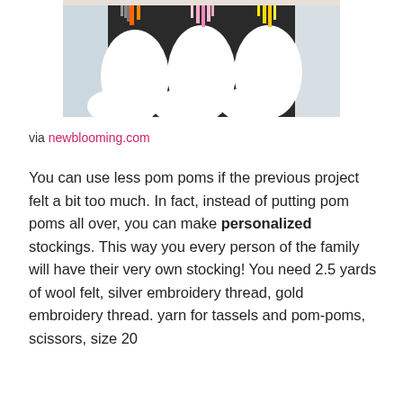[Figure (photo): Three white felt Christmas stockings hanging on a mantle, each decorated with a colorful tassel at the top — one with orange/gray, one with pink, one with yellow. Background shows a white shelf/mantle.]
via newblooming.com
You can use less pom poms if the previous project felt a bit too much. In fact, instead of putting pom poms all over, you can make personalized stockings. This way you every person of the family will have their very own stocking! You need 2.5 yards of wool felt, silver embroidery thread, gold embroidery thread. yarn for tassels and pom-poms, scissors, size 20